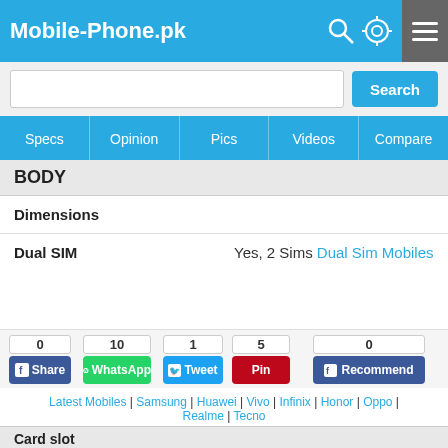Mobile-Phone.pk
BODY
| Field | Value |
| --- | --- |
| Dimensions |  |
| Dual SIM | Yes, 2 Sims Dual Sim Mobiles |
|  | Dual Sim, Dual Standby |
|  | - Material Plastic |
DISPLAY
| Field | Value |
| --- | --- |
| Type | QVGA |
| Size | 2.4 inches |
PLATFORM
0 Share | 10 WhatsApp | 1 Tweet | 5 Pin | 0 Recommend
Latest Mobiles | Samsung | Huawei | Vivo | Infinix | Honor | Oppo | Realme | Tecno
Card slot